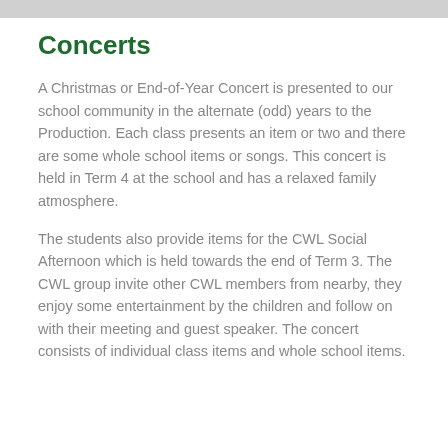Concerts
A Christmas or End-of-Year Concert is presented to our school community in the alternate (odd) years to the Production. Each class presents an item or two and there are some whole school items or songs. This concert is held in Term 4 at the school and has a relaxed family atmosphere.
The students also provide items for the CWL Social Afternoon which is held towards the end of Term 3. The CWL group invite other CWL members from nearby, they enjoy some entertainment by the children and follow on with their meeting and guest speaker. The concert consists of individual class items and whole school items.